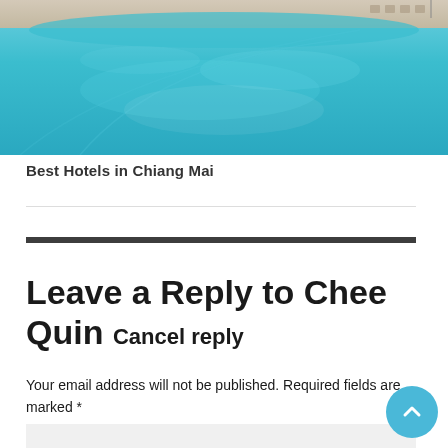[Figure (photo): Aerial view of a turquoise hotel swimming pool with pool deck visible at the top.]
Best Hotels in Chiang Mai
Leave a Reply to Chee Quin Cancel reply
Your email address will not be published. Required fields are marked *